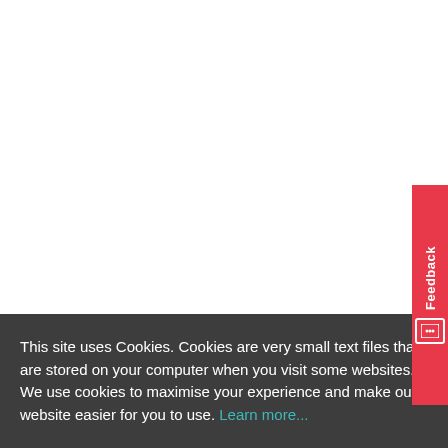[Figure (screenshot): Feedback button widget on the right edge of the page, red background with white vertical text 'Feedback' and a smiley face icon]
This site uses Cookies. Cookies are very small text files that are stored on your computer when you visit some websites. We use cookies to maximise your experience and make our website easier for you to use. Learn more...